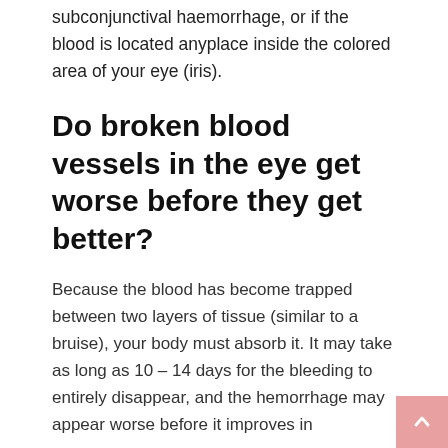subconjunctival haemorrhage, or if the blood is located anyplace inside the colored area of your eye (iris).
Do broken blood vessels in the eye get worse before they get better?
Because the blood has become trapped between two layers of tissue (similar to a bruise), your body must absorb it. It may take as long as 10 – 14 days for the bleeding to entirely disappear, and the hemorrhage may appear worse before it improves in appearance.